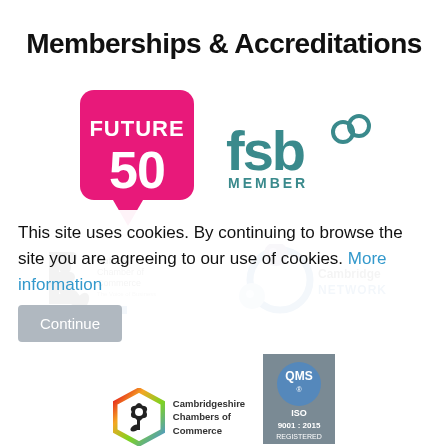Memberships & Accreditations
[Figure (logo): Future 50 logo - pink speech bubble shape with FUTURE 50 text]
[Figure (logo): FSB Member logo - teal fsb text with infinity symbol and MEMBER underneath]
[Figure (logo): Suffolk Chamber of Commerce logo]
[Figure (logo): Cambridge Network logo - blue circle with smaller sphere]
This site uses cookies. By continuing to browse the site you are agreeing to our use of cookies. More information
[Figure (logo): Cambridgeshire Chambers of Commerce logo - hexagon with flower icon]
[Figure (logo): QMS ISO 9001:2015 Registered logo]